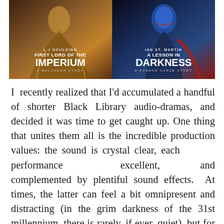[Figure (illustration): Two Black Library audio-drama covers side by side. Left: 'First Lord of the Imperium – A Malcador Story' by L J Goulding, featuring a robed figure with warm orange/brown tones. Right: 'A Lesson in Darkness – A Konrad Curze Story' by Ian St. Martin, featuring an armored figure with blue helmet against dark tones.]
I recently realized that I'd accumulated a handful of shorter Black Library audio-dramas, and decided it was time to get caught up. One thing that unites them all is the incredible production values: the sound is crystal clear, each performance excellent, and complemented by plentiful sound effects. At times, the latter can feel a bit omnipresent and distracting (in the grim darkness of the 31st millennium, there is rarely, if ever, quiet), but for the main they remain in the background.